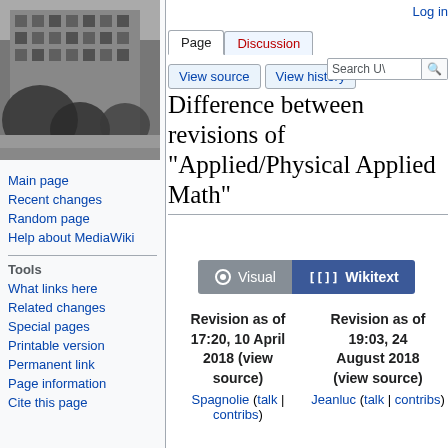[Figure (photo): Black and white photo of a building with trees in the foreground]
Main page
Recent changes
Random page
Help about MediaWiki
Tools
What links here
Related changes
Special pages
Printable version
Permanent link
Page information
Cite this page
Log in
Difference between revisions of "Applied/Physical Applied Math"
Revision as of 17:20, 10 April 2018 (view source)
Spagnolie (talk | contribs)
Revision as of 19:03, 24 August 2018 (view source)
Jeanluc (talk | contribs)